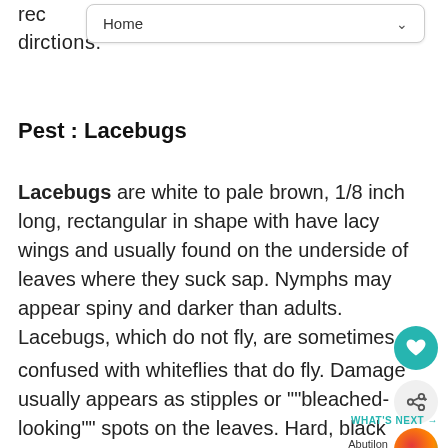rec
directions.
Pest : Lacebugs
Lacebugs are white to pale brown, 1/8 inch long, rectangular in shape with have lacy wings and usually found on the underside of leaves where they suck sap. Nymphs may appear spiny and darker than adults. Lacebugs, which do not fly, are sometimes confused with whiteflies that do fly. Damage 1 usually appears as stipples or ""bleached-looking"" spots on the leaves. Hard, black excrement can usually be found on underside of leaves. Damage is most visible during the summer, especially on trees